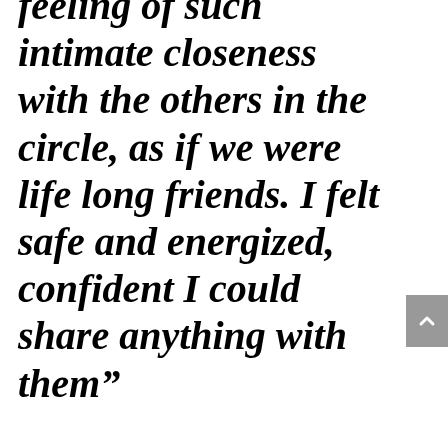feeling of such intimate closeness with the others in the circle, as if we were life long friends. I felt safe and energized, confident I could share anything with them”